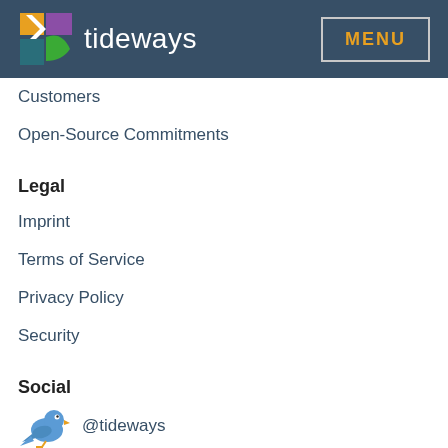tideways MENU
Customers
Open-Source Commitments
Legal
Imprint
Terms of Service
Privacy Policy
Security
Social
@tideways